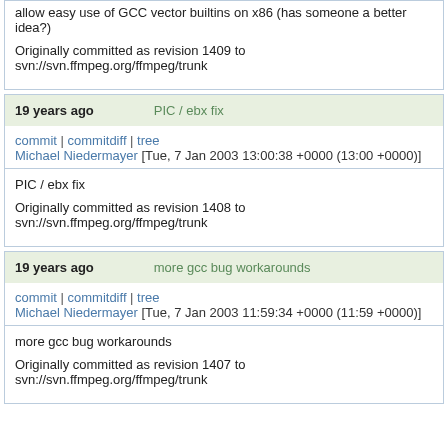allow easy use of GCC vector builtins on x86 (has someone a better idea?)

Originally committed as revision 1409 to svn://svn.ffmpeg.org/ffmpeg/trunk
19 years ago    PIC / ebx fix
commit | commitdiff | tree
Michael Niedermayer [Tue, 7 Jan 2003 13:00:38 +0000 (13:00 +0000)]
PIC / ebx fix

Originally committed as revision 1408 to svn://svn.ffmpeg.org/ffmpeg/trunk
19 years ago    more gcc bug workarounds
commit | commitdiff | tree
Michael Niedermayer [Tue, 7 Jan 2003 11:59:34 +0000 (11:59 +0000)]
more gcc bug workarounds

Originally committed as revision 1407 to svn://svn.ffmpeg.org/ffmpeg/trunk